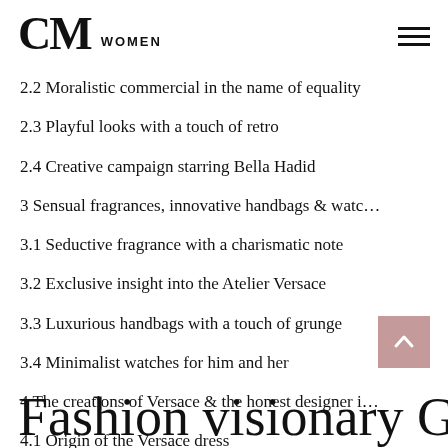CM WOMEN
2.2 Moralistic commercial in the name of equality
2.3 Playful looks with a touch of retro
2.4 Creative campaign starring Bella Hadid
3  Sensual fragrances, innovative handbags & watc…
3.1 Seductive fragrance with a charismatic note
3.2 Exclusive insight into the Atelier Versace
3.3 Luxurious handbags with a touch of grunge
3.4 Minimalist watches for him and her
4  The creations of Versace & the honest designer i…
4.1 Origin of the Versace dress
4.2 Donatella Versace about her life as a designer
Fashion visionary Gianni